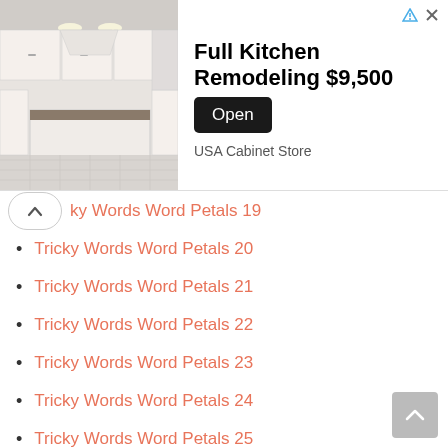[Figure (photo): Advertisement banner showing a white luxury kitchen with island, alongside text 'Full Kitchen Remodeling $9,500' and an Open button, from USA Cabinet Store]
Tricky Words Word Petals 19
Tricky Words Word Petals 20
Tricky Words Word Petals 21
Tricky Words Word Petals 22
Tricky Words Word Petals 23
Tricky Words Word Petals 24
Tricky Words Word Petals 25
Tricky Words Word Petals 26
Tricky Words Word Petals 27
Tricky Words Word Petals 28
Tricky Words Word Petals 29